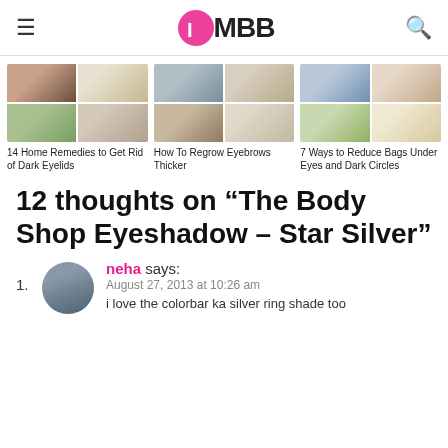IMBB (logo)
[Figure (photo): Three groups of beauty/eye-care tutorial thumbnail images in a 2x2 grid layout each]
14 Home Remedies to Get Rid of Dark Eyelids
How To Regrow Eyebrows Thicker
7 Ways to Reduce Bags Under Eyes and Dark Circles
12 thoughts on “The Body Shop Eyeshadow – Star Silver”
neha says:
August 27, 2013 at 10:26 am
i love the colorbar ka silver ring shade too